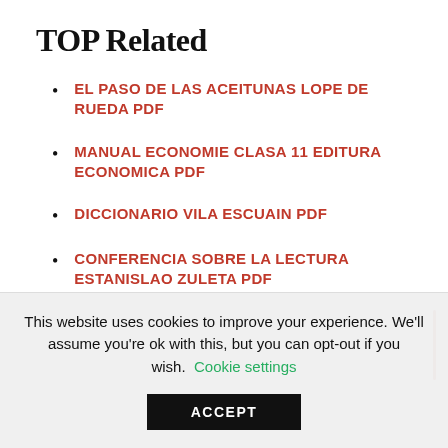TOP Related
EL PASO DE LAS ACEITUNAS LOPE DE RUEDA PDF
MANUAL ECONOMIE CLASA 11 EDITURA ECONOMICA PDF
DICCIONARIO VILA ESCUAIN PDF
CONFERENCIA SOBRE LA LECTURA ESTANISLAO ZULETA PDF
This website uses cookies to improve your experience. We'll assume you're ok with this, but you can opt-out if you wish. Cookie settings ACCEPT